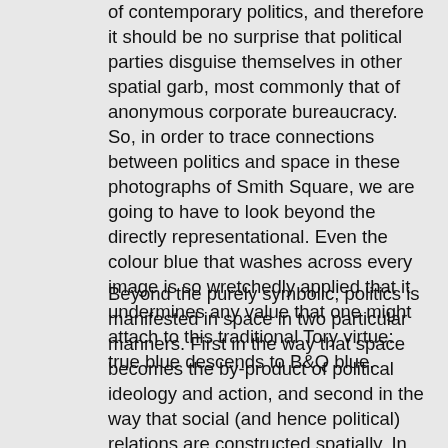of contemporary politics, and therefore it should be no surprise that political parties disguise themselves in other spatial garb, most commonly that of anonymous corporate bureaucracy. So, in order to trace connections between politics and space in these photographs of Smith Square, we are going to have to look beyond the directly representational. Even the colour blue that washes across every image is so wretchedly applied that it undermines any value that one might attach to this traditional Tory virtue: true blue descends to B&Q blue.
Beyond the purely symbolic, politics is manifested in space in two particular manners. First in the way that space becomes the by-product of political ideology and action, and second in the way that social (and hence political) relations are constructed spatially. In terms of the former, Owen Hatherley's recent